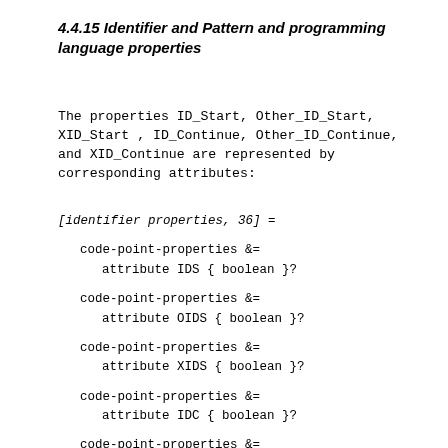4.4.15 Identifier and Pattern and programming language properties
The properties ID_Start, Other_ID_Start, XID_Start , ID_Continue, Other_ID_Continue, and XID_Continue are represented by corresponding attributes:
[identifier properties, 36] =
    code-point-properties &=
        attribute IDS { boolean }?

    code-point-properties &=
        attribute OIDS { boolean }?

    code-point-properties &=
        attribute XIDS { boolean }?

    code-point-properties &=
        attribute IDC { boolean }?

    code-point-properties &=
        attribute OIDC { boolean }?

    code-point-properties &=
        attribute XIDC { boolean }?